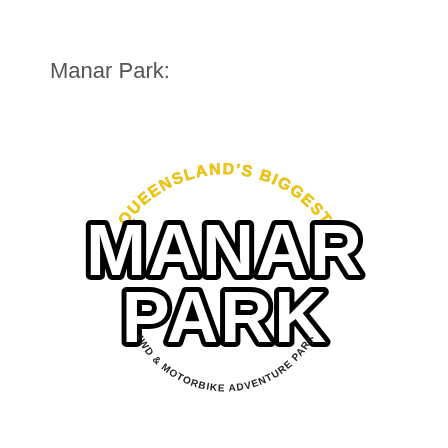Manar Park:
[Figure (logo): Manar Park logo: arched text 'QUEENSLAND'S BIGGEST' in yellow at the top, large bold grunge-style text 'MANAR PARK' in white with black outline in the center, and curved text '4WD & MOTORBIKE ADVENTURE PARK' in black at the bottom.]